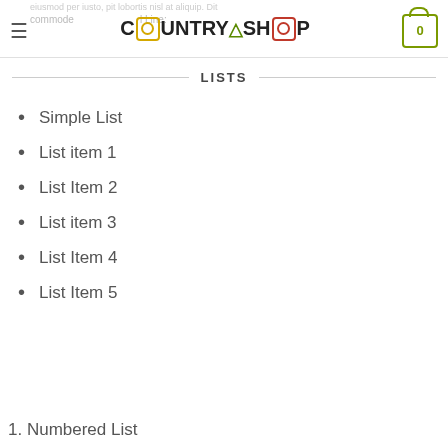COUNTRYSHOP
LISTS
Simple List
List item 1
List Item 2
List item 3
List Item 4
List Item 5
1. Numbered List